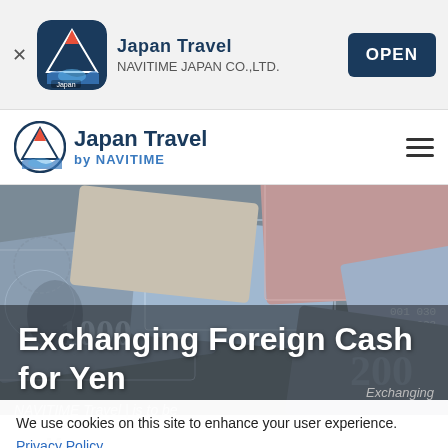[Figure (screenshot): App store banner for Japan Travel by NAVITIME app with icon, app name, developer name, and OPEN button on gray background]
[Figure (logo): Japan Travel by NAVITIME navigation bar logo with circular mountain/wave logo and hamburger menu icon]
[Figure (photo): Hero image of various foreign currency banknotes spread out, with white bold title text overlay reading 'Exchanging Foreign Cash for Yen']
Exchanging Foreign Cash for Yen
We use cookies on this site to enhance your user experience.
Privacy Policy
Accept